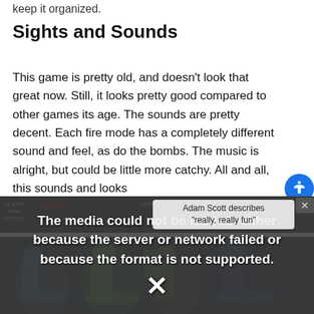keep it organized.
Sights and Sounds
This game is pretty old, and doesn't look that great now. Still, it looks pretty good compared to other games its age. The sounds are pretty decent. Each fire mode has a completely different sound and feel, as do the bombs. The music is alright, but could be little more catchy. All and all, this sounds and looks
[Figure (screenshot): Video player overlay showing error message: 'The media could not be loaded, either because the server or network failed or because the format is not supported.' with an X button. Behind it, a Verizon advertisement banner is partially visible. An accessibility icon (blue circle with person) appears on the right. Adam Scott caption overlay reads 'Adam Scott describes "really, really fun"'. Bottom of page shows a gaming screenshot with fantasy/game characters.]